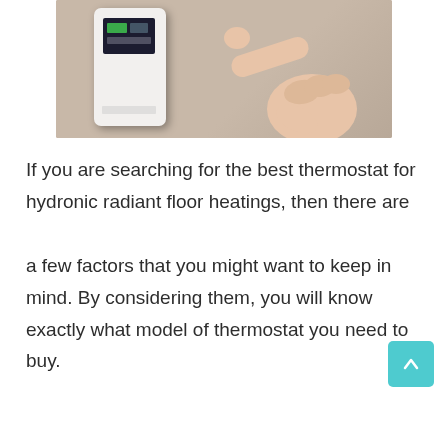[Figure (photo): A hand pointing at a digital thermostat mounted on a beige/gray wall]
If you are searching for the best thermostat for hydronic radiant floor heatings, then there are a few factors that you might want to keep in mind. By considering them, you will know exactly what model of thermostat you need to buy.